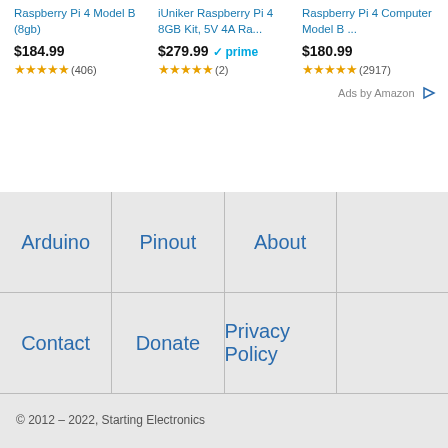Raspberry Pi 4 Model B (8gb)
$184.99
★★★★★ (406)
iUniker Raspberry Pi 4 8GB Kit, 5V 4A Ra...
$279.99 ✓prime
★★★★★ (2)
Raspberry Pi 4 Computer Model B ...
$180.99
★★★★★ (2917)
Ads by Amazon
Arduino
Pinout
About
Contact
Donate
Privacy Policy
© 2012 – 2022, Starting Electronics